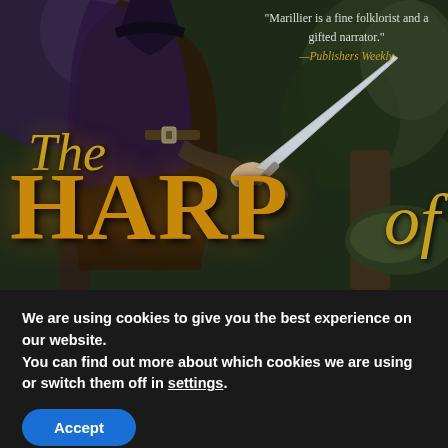[Figure (illustration): Book cover of 'The Harp of...' showing a cloaked figure holding a sword against a dark forest background. Title text in gold/amber lettering. Pull quote from Publishers Weekly in upper right.]
"Marillier is a fine folklorist and a gifted narrator." —Publishers Weekly
The HARP of
We are using cookies to give you the best experience on our website.
You can find out more about which cookies we are using or switch them off in settings.
Accept